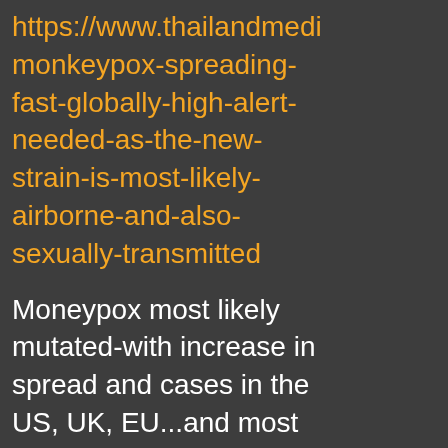https://www.thailandmedi monkeypox-spreading-fast-globally-high-alert-needed-as-the-new-strain-is-most-likely-airborne-and-also-sexually-transmitted
Moneypox most likely mutated-with increase in spread and cases in the US, UK, EU...and most likely also in Africa. I would not be surprised Latin America/Asia/Australia by now also may have